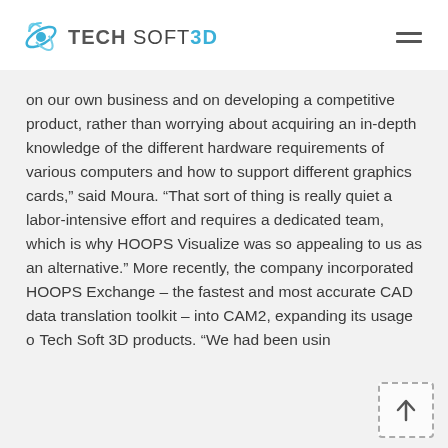TECH SOFT 3D
on our own business and on developing a competitive product, rather than worrying about acquiring an in-depth knowledge of the different hardware requirements of various computers and how to support different graphics cards,” said Moura. “That sort of thing is really quiet a labor-intensive effort and requires a dedicated team, which is why HOOPS Visualize was so appealing to us as an alternative.” More recently, the company incorporated HOOPS Exchange – the fastest and most accurate CAD data translation toolkit – into CAM2, expanding its usage o… Tech Soft 3D products. “We had been usin…